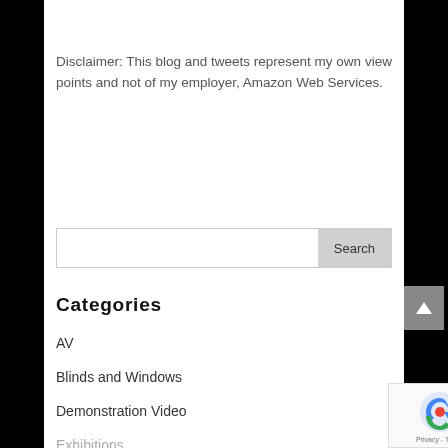Disclaimer: This blog and tweets represent my own view points and not of my employer, Amazon Web Services.
Categories
AV
Blinds and Windows
Demonstration Video
Exhibitions
Irrigation